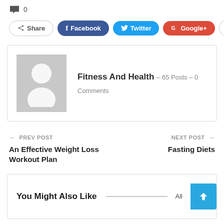0
Share  Facebook  Twitter  Google+  +
Fitness And Health – 65 Posts – 0 Comments
← PREV POST
An Effective Weight Loss Workout Plan
NEXT POST →
Fasting Diets
You Might Also Like  All